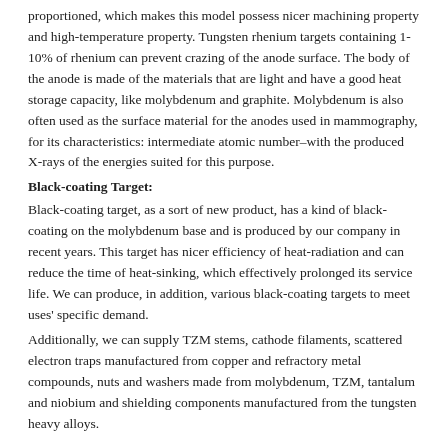proportioned, which makes this model possess nicer machining property and high-temperature property. Tungsten rhenium targets containing 1-10% of rhenium can prevent crazing of the anode surface. The body of the anode is made of the materials that are light and have a good heat storage capacity, like molybdenum and graphite. Molybdenum is also often used as the surface material for the anodes used in mammography, for its characteristics: intermediate atomic number–with the produced X-rays of the energies suited for this purpose.
Black-coating Target:
Black-coating target, as a sort of new product, has a kind of black-coating on the molybdenum base and is produced by our company in recent years. This target has nicer efficiency of heat-radiation and can reduce the time of heat-sinking, which effectively prolonged its service life. We can produce, in addition, various black-coating targets to meet uses' specific demand.
Additionally, we can supply TZM stems, cathode filaments, scattered electron traps manufactured from copper and refractory metal compounds, nuts and washers made from molybdenum, TZM, tantalum and niobium and shielding components manufactured from the tungsten heavy alloys.